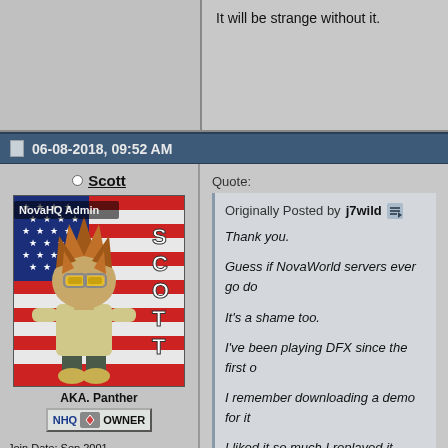It will be strange without it.
06-08-2018, 09:52 AM
Scott
[Figure (illustration): Cartoon avatar of a spiky-haired character in front of an American flag, with the word SCOTT spelled vertically on the right side. Label 'NovaHQ Admin' at top left.]
AKA. Panther
NHQ OWNER
Join Date: Sep 2001
Location: Minneapolis, MN
Posts: 10,881
Quote:
Originally Posted by j7wild
Thank you.

Guess if NovaWorld servers ever go do

It's a shame too.

I've been playing DFX since the first o

I remember downloading a demo for it

I liked it so much I replayed it several for the night.

It's been part of my life for nearly 20 y

Made many new friends and also sadly

I still play every Friday and Saturday night.